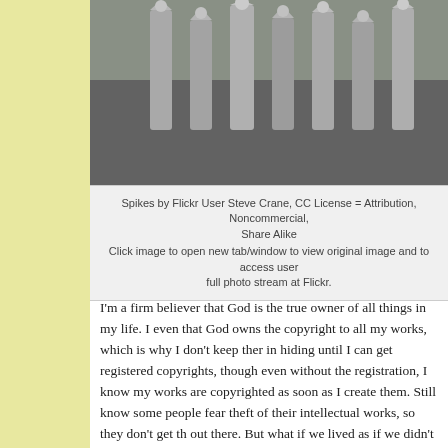[Figure (photo): Close-up photograph of stone or metal spikes/fence posts, gray in color, blurred background with green foliage]
Spikes by Flickr User Steve Crane, CC License = Attribution, Noncommercial, Share Alike
Click image to open new tab/window to view original image and to access user full photo stream at Flickr.
I’m a firm believer that God is the true owner of all things in my life. I even that God owns the copyright to all my works, which is why I don’t keep them in hiding until I can get registered copyrights, though even without the registration, I know my works are copyrighted as soon as I create them. Still, know some people fear theft of their intellectual works, so they don’t get th out there. But what if we lived as if we didn’t own any of it, and what if we lived as if all we have is given to us to share?
In today’s reading from Leviticus 25:14 through Leviticus 25:18, we read about God’s idea of fair sales practices, and how He says to stay secure in o land. First, He says that when people sell to each other, they should never exploit each other. In context with the passage, this refers to land for sale between years of jubilee (every 50 years) since on those years, all land goes back to the original owners. Yesterday’s post introduced jubilee, but I didn’t comment on the last verse about owners returning.